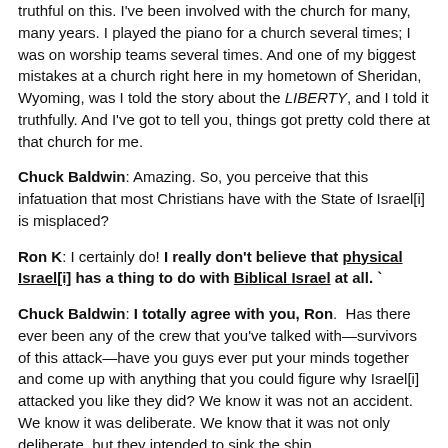truthful on this. I've been involved with the church for many, many years. I played the piano for a church several times; I was on worship teams several times. And one of my biggest mistakes at a church right here in my hometown of Sheridan, Wyoming, was I told the story about the LIBERTY, and I told it truthfully. And I've got to tell you, things got pretty cold there at that church for me.
Chuck Baldwin: Amazing. So, you perceive that this infatuation that most Christians have with the State of Israel[i] is misplaced?
Ron K: I certainly do! I really don't believe that physical Israel[i] has a thing to do with Biblical Israel at all. `
Chuck Baldwin: I totally agree with you, Ron. Has there ever been any of the crew that you've talked with—survivors of this attack—have you guys ever put your minds together and come up with anything that you could figure why Israel[i] attacked you like they did? We know it was not an accident. We know it was deliberate. We know that it was not only deliberate, but they intended to sink the ship.